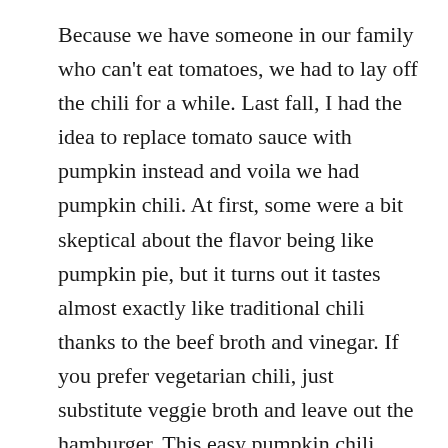Because we have someone in our family who can't eat tomatoes, we had to lay off the chili for a while. Last fall, I had the idea to replace tomato sauce with pumpkin instead and voila we had pumpkin chili. At first, some were a bit skeptical about the flavor being like pumpkin pie, but it turns out it tastes almost exactly like traditional chili thanks to the beef broth and vinegar. If you prefer vegetarian chili, just substitute veggie broth and leave out the hamburger. This easy pumpkin chili pairs perfectly with a big slice of cornbread or corn chips. Enjoy!